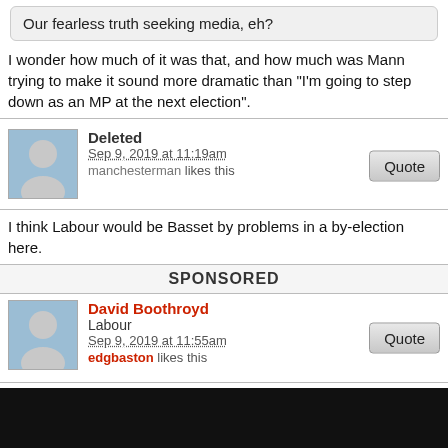Our fearless truth seeking media, eh?
I wonder how much of it was that, and how much was Mann trying to make it sound more dramatic than "I'm going to step down as an MP at the next election".
Deleted — Sep 9, 2019 at 11:19am — manchesterman likes this
I think Labour would be Basset by problems in a by-election here.
SPONSORED
David Boothroyd — Labour — Sep 9, 2019 at 11:55am — edgbaston likes this
Bassetlaw had very good local elections for Labour in May.
john07 — Labour & Co-operative — Sep 9, 2019 at 2:21pm — Foggy likes this